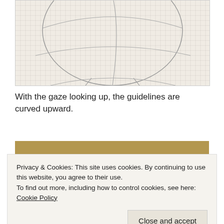[Figure (illustration): Pencil sketch of a face on graph paper with guidelines curved upward, showing the head tilted with gaze looking up. Circular face outline with curved horizontal and vertical guidelines.]
With the gaze looking up, the guidelines are curved upward.
[Figure (photo): Photo showing a brown/tan cardboard or paper surface with a small rectangular outline drawn in lighter color near the upper left.]
Privacy & Cookies: This site uses cookies. By continuing to use this website, you agree to their use.
To find out more, including how to control cookies, see here: Cookie Policy
Close and accept